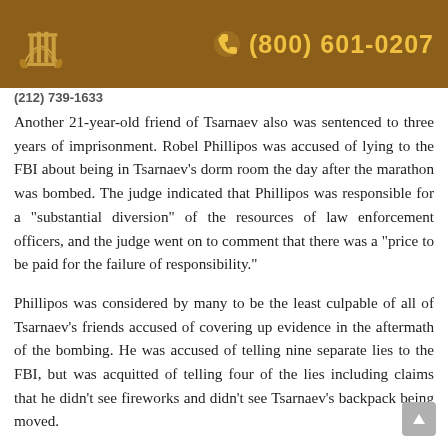(800) 601-0207
(212) 739-1633
Another 21-year-old friend of Tsarnaev also was sentenced to three years of imprisonment. Robel Phillipos was accused of lying to the FBI about being in Tsarnaev's dorm room the day after the marathon was bombed. The judge indicated that Phillipos was responsible for a "substantial diversion" of the resources of law enforcement officers, and the judge went on to comment that there was a "price to be paid for the failure of responsibility."
Phillipos was considered by many to be the least culpable of all of Tsarnaev's friends accused of covering up evidence in the aftermath of the bombing. He was accused of telling nine separate lies to the FBI, but was acquitted of telling four of the lies including claims that he didn't see fireworks and didn't see Tsarnaev's backpack being moved.